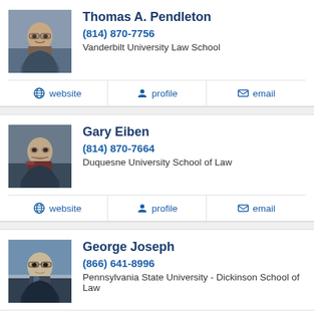[Figure (photo): Headshot of Thomas A. Pendleton, man with glasses smiling]
Thomas A. Pendleton
(814) 870-7756
Vanderbilt University Law School
website | profile | email
[Figure (photo): Headshot of Gary Eiben, older man with mustache]
Gary Eiben
(814) 870-7664
Duquesne University School of Law
website | profile | email
[Figure (photo): Headshot of George Joseph, older man with glasses]
George Joseph
(866) 641-8996
Pennsylvania State University - Dickinson School of Law